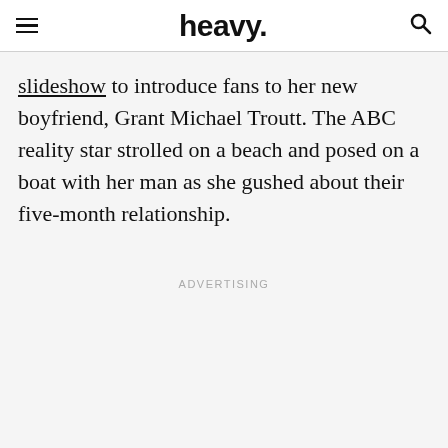heavy.
slideshow to introduce fans to her new boyfriend, Grant Michael Troutt. The ABC reality star strolled on a beach and posed on a boat with her man as she gushed about their five-month relationship.
ADVERTISING